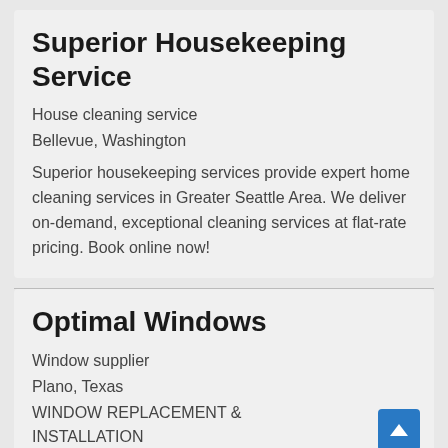Superior Housekeeping Service
House cleaning service
Bellevue, Washington
Superior housekeeping services provide expert home cleaning services in Greater Seattle Area. We deliver on-demand, exceptional cleaning services at flat-rate pricing. Book online now!
Optimal Windows
Window supplier
Plano, Texas
WINDOW REPLACEMENT & INSTALLATION